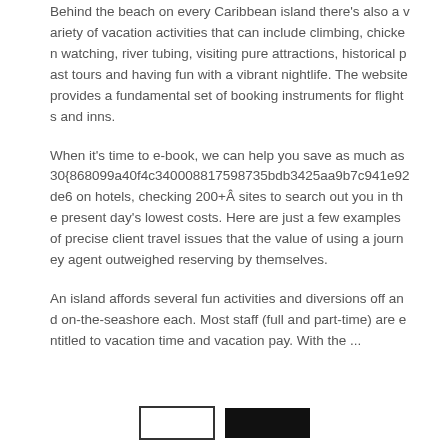Behind the beach on every Caribbean island there's also a variety of vacation activities that can include climbing, chicken watching, river tubing, visiting pure attractions, historical past tours and having fun with a vibrant nightlife. The website provides a fundamental set of booking instruments for flights and inns.
When it's time to e-book, we can help you save as much as 30{868099a40f4c340008817598735bdb3425aa9b7c941e92de6 on hotels, checking 200+Â sites to search out you in the present day's lowest costs. Here are just a few examples of precise client travel issues that the value of using a journey agent outweighed reserving by themselves.
An island affords several fun activities and diversions off and on-the-seashore each. Most staff (full and part-time) are entitled to vacation time and vacation pay. With the ...